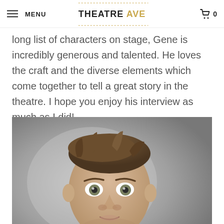MENU | THEATRE AVE | 0
long list of characters on stage, Gene is incredibly generous and talented. He loves the craft and the diverse elements which come together to tell a great story in the theatre. I hope you enjoy his interview as much as I did!
[Figure (photo): Headshot of a man with short brown hair, wearing a black shirt, looking directly at the camera against a grey background.]